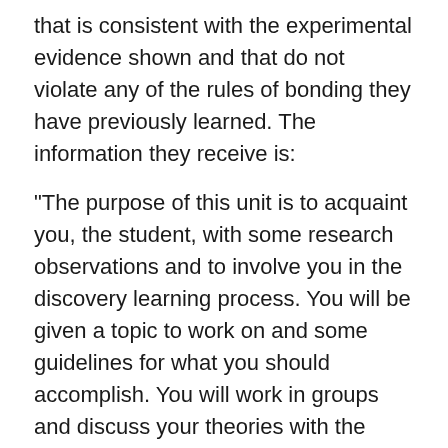that is consistent with the experimental evidence shown and that do not violate any of the rules of bonding they have previously learned. The information they receive is:
"The purpose of this unit is to acquaint you, the student, with some research observations and to involve you in the discovery learning process. You will be given a topic to work on and some guidelines for what you should accomplish. You will work in groups and discuss your theories with the other members of your group.
“The problem you will be studying is a classic example of molecular structure research in chemistry, the structure of a coordination compound. This work led to the first Nobel Prize awarded to an inorganic chemist Alfred Werner.
“The following scientific facts about the compounds of cobalt listed below are well proven and accepted. The overall goal you have is to derive a structure for the three